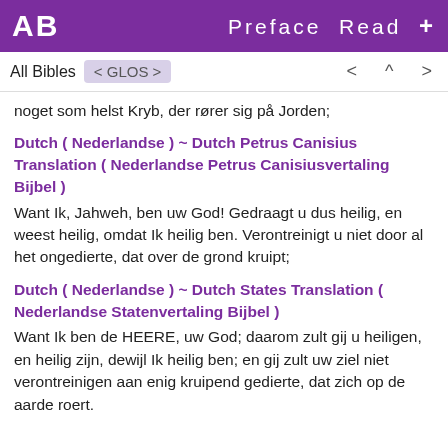AB  Preface  Read  +
All Bibles  < GLOS >  < ^ >
noget som helst Kryb, der rører sig på Jorden;
Dutch ( Nederlandse ) ~ Dutch Petrus Canisius Translation ( Nederlandse Petrus Canisiusvertaling Bijbel )
Want Ik, Jahweh, ben uw God! Gedraagt u dus heilig, en weest heilig, omdat Ik heilig ben. Verontreinigt u niet door al het ongedierte, dat over de grond kruipt;
Dutch ( Nederlandse ) ~ Dutch States Translation ( Nederlandse Statenvertaling Bijbel )
Want Ik ben de HEERE, uw God; daarom zult gij u heiligen, en heilig zijn, dewijl Ik heilig ben; en gij zult uw ziel niet verontreinigen aan enig kruipend gedierte, dat zich op de aarde roert.